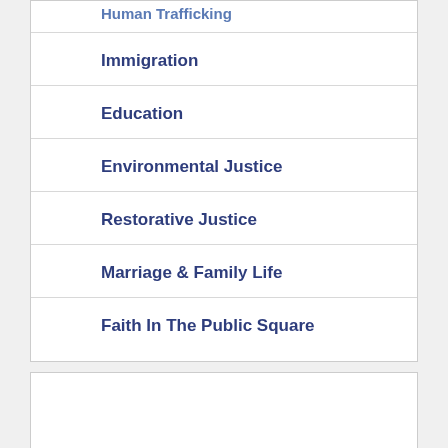Human Trafficking
Immigration
Education
Environmental Justice
Restorative Justice
Marriage & Family Life
Faith In The Public Square